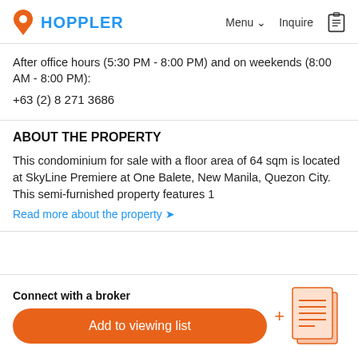HOPPLER | Menu | Inquire
After office hours (5:30 PM - 8:00 PM) and on weekends (8:00 AM - 8:00 PM):
+63 (2) 8 271 3686
ABOUT THE PROPERTY
This condominium for sale with a floor area of 64 sqm is located at SkyLine Premiere at One Balete, New Manila, Quezon City. This semi-furnished property features 1
Read more about the property ▾
Connect with a broker
Add to viewing list